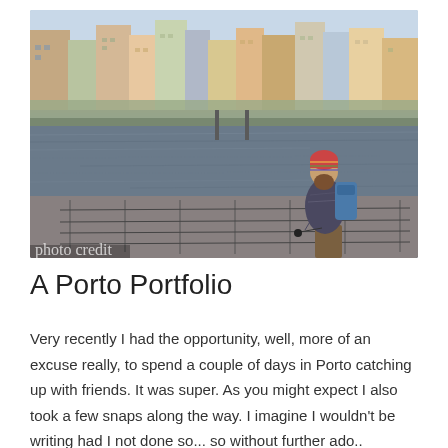[Figure (photo): A bearded man wearing a colorful striped beanie and carrying a blue backpack stands with a bicycle at a railing overlooking a river. Behind him is the colorful waterfront cityscape of Porto, Portugal, with multi-storey buildings in pastel colors.]
A Porto Portfolio
Very recently I had the opportunity, well, more of an excuse really, to spend a couple of days in Porto catching up with friends. It was super. As you might expect I also took a few snaps along the way. I imagine I wouldn't be writing had I not done so... so without further ado..